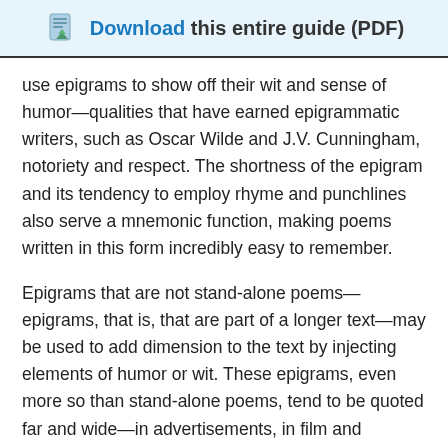Download this entire guide (PDF)
use epigrams to show off their wit and sense of humor—qualities that have earned epigrammatic writers, such as Oscar Wilde and J.V. Cunningham, notoriety and respect. The shortness of the epigram and its tendency to employ rhyme and punchlines also serve a mnemonic function, making poems written in this form incredibly easy to remember.
Epigrams that are not stand-alone poems—epigrams, that is, that are part of a longer text—may be used to add dimension to the text by injecting elements of humor or wit. These epigrams, even more so than stand-alone poems, tend to be quoted far and wide—in advertisements, in film and television, and, most of all, in everyday conversation. In this sense, non-poetic epigrams may be